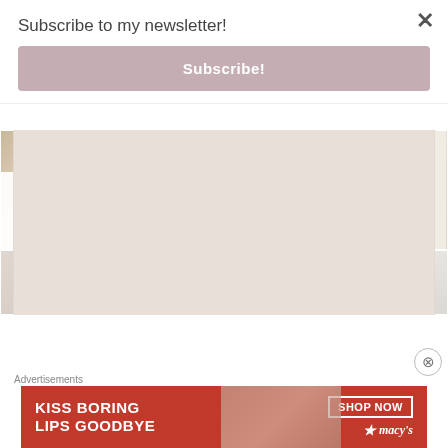Subscribe to my newsletter!
Subscribe!
[Figure (photo): Grid of lifestyle blog post thumbnails including bath/wellness, drink/energy, Christmas tree, blonde woman, door, and beige background images with overlaid card titles]
[Figure (photo): Advertisement banner: KISS BORING LIPS GOODBYE - SHOP NOW - macy's]
Advertisements